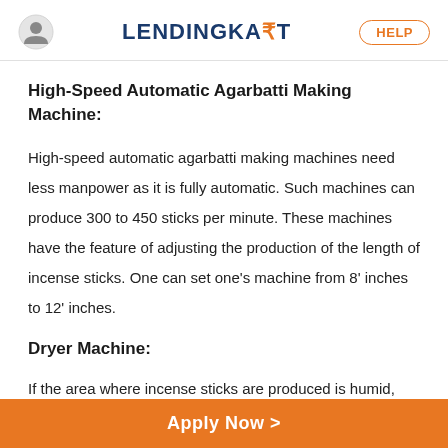LENDINGKA₹T  HELP
High-Speed Automatic Agarbatti Making Machine:
High-speed automatic agarbatti making machines need less manpower as it is fully automatic. Such machines can produce 300 to 450 sticks per minute. These machines have the feature of adjusting the production of the length of incense sticks. One can set one's machine from 8' inches to 12' inches.
Dryer Machine:
If the area where incense sticks are produced is humid, one
Apply Now >